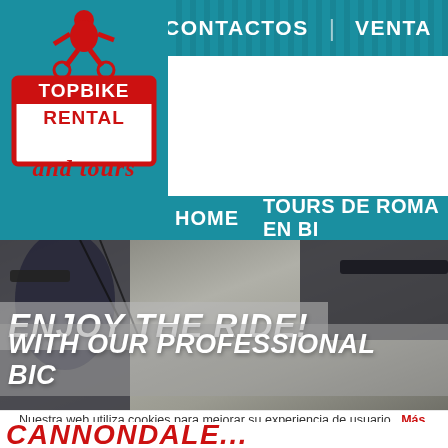CONTACTOS | VENTA
[Figure (logo): Top Bike Rental and Tours logo — red cyclist figure above red outlined square with white text TOPBIKE RENTAL, red script 'and tours' below]
HOME   TOURS DE ROMA EN BI...
[Figure (photo): Close-up photo of bicycle handlebars and front fork against a stone wall background]
ENJOY THE RIDE!
WITH OUR PROFESSIONAL BIC...
Nuestra web utiliza cookies para mejorar su experiencia de usuario.  Más información.  Aceptar
CANNONDALE...